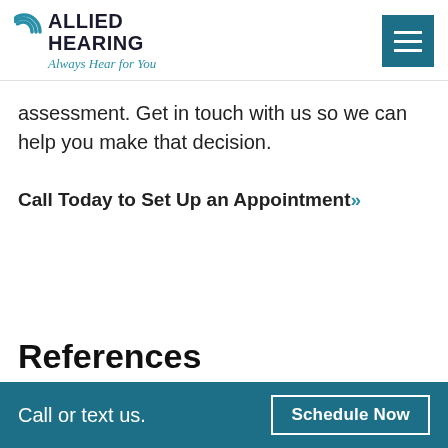[Figure (logo): Allied Hearing logo with cyan arc/wave icon and text 'ALLIED HEARING' in bold dark navy, tagline 'Always Hear for You' in italic teal]
assessment. Get in touch with us so we can help you make that decision.
Call Today to Set Up an Appointment»
References
Call or text us.  Schedule Now